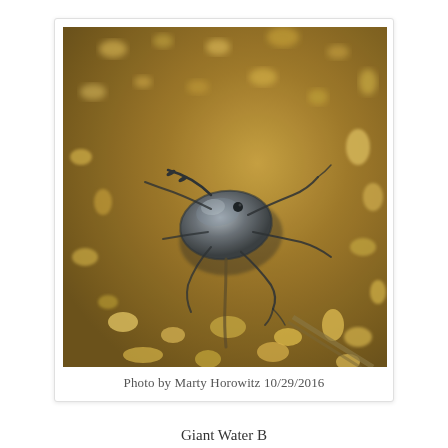[Figure (photo): Close-up photograph of a water bug (giant water bug) resting on a rocky, pebbly stream bottom seen through shallow water. The insect is dark/grey-brown with visible legs and antennae. The background shows golden-brown pebbles and gravel underwater.]
Photo by Marty Horowitz 10/29/2016
Giant Water B…